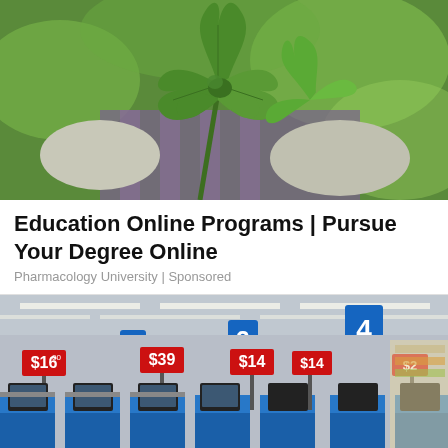[Figure (photo): Person wearing white gloves examining cannabis plant leaves outdoors]
Education Online Programs | Pursue Your Degree Online
Pharmacology University | Sponsored
[Figure (photo): Interior of a Walmart store showing checkout lanes with blue registers and price signs including $16, $39, $14, $2]